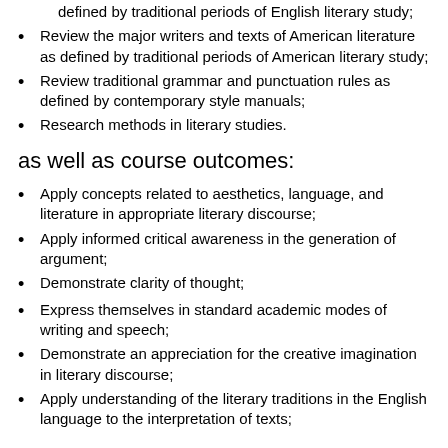defined by traditional periods of English literary study;
Review the major writers and texts of American literature as defined by traditional periods of American literary study;
Review traditional grammar and punctuation rules as defined by contemporary style manuals;
Research methods in literary studies.
as well as course outcomes:
Apply concepts related to aesthetics, language, and literature in appropriate literary discourse;
Apply informed critical awareness in the generation of argument;
Demonstrate clarity of thought;
Express themselves in standard academic modes of writing and speech;
Demonstrate an appreciation for the creative imagination in literary discourse;
Apply understanding of the literary traditions in the English language to the interpretation of texts;